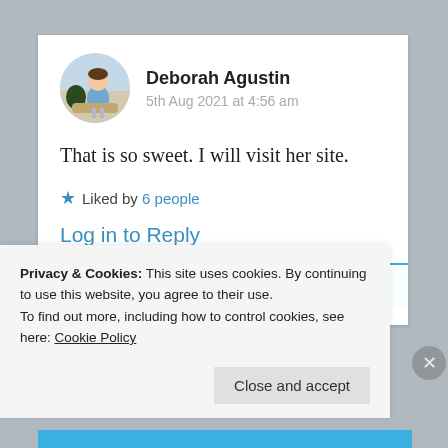Deborah Agustin
5th Aug 2021 at 4:56 am
That is so sweet. I will visit her site.
Liked by 6 people
Log in to Reply
Privacy & Cookies: This site uses cookies. By continuing to use this website, you agree to their use. To find out more, including how to control cookies, see here: Cookie Policy
Close and accept